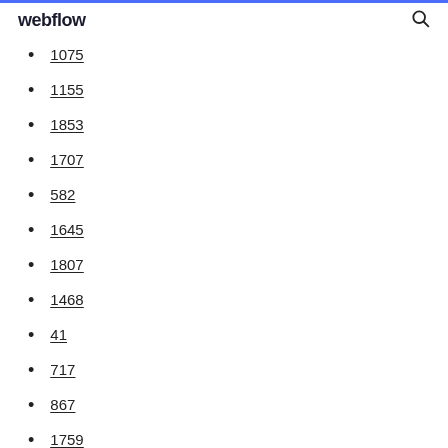webflow
1075
1155
1853
1707
582
1645
1807
1468
41
717
867
1759
633